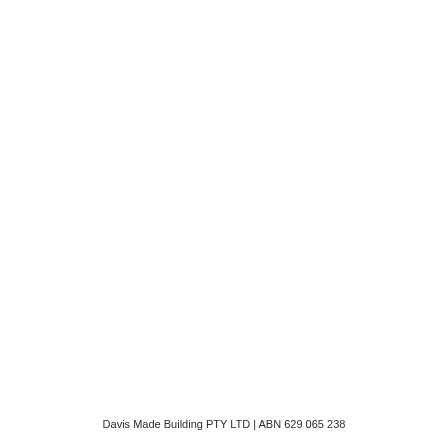Davis Made Building PTY LTD | ABN 629 065 238